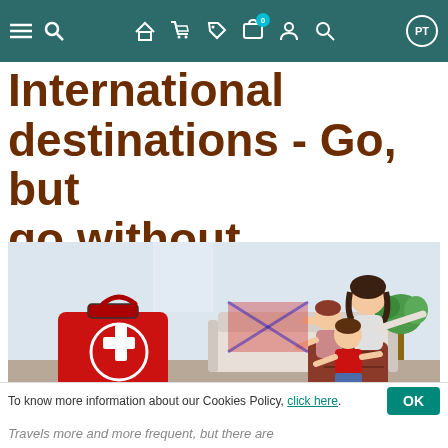Navigation bar with menu, search, home, cart, promotions, bag (0), account, search, PT language selector
International destinations - Go, but go without worrying!
[Figure (photo): A mother and two children joyfully posing with luggage — a red first-aid/medical suitcase on wheels with a white cross on the left, and a woman with arms spread wide seated behind two girls on a brown suitcase on the right, in a bright living room setting with a sofa and plant.]
To know more information about our Cookies Policy, click here.
Travels more and more frequent, but there are